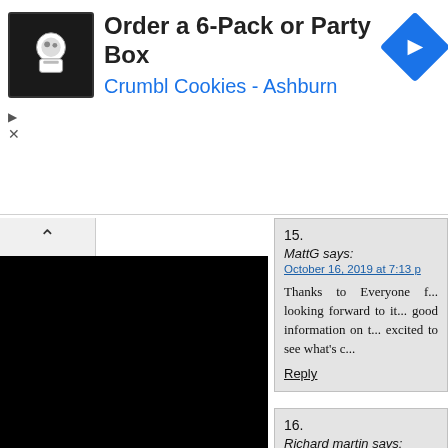[Figure (screenshot): Advertisement banner for Crumbl Cookies - Ashburn showing logo, text 'Order a 6-Pack or Party Box', 'Crumbl Cookies - Ashburn', and a blue navigation arrow icon]
15.
MattG says:
October 16, 2019 at 7:13 p

Thanks to Everyone f... looking forward to it... good information on t... excited to see what's c...

Reply
16.
Richard martin says:
October 25, 2019 at 3:33 pm

HI jamie the 1/1000 Enter... with the kit can you do the...